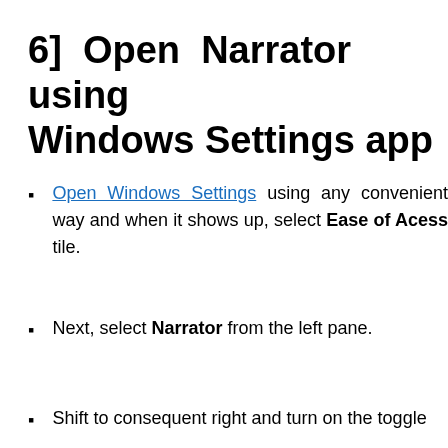6]  Open  Narrator  using  Windows Settings app
Open Windows Settings using any convenient way and when it shows up, select Ease of Acess tile.
Next, select Narrator from the left pane.
Shift to consequent right and turn on the toggle